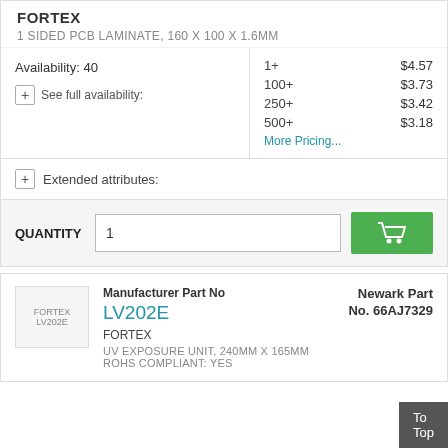FORTEX
1 SIDED PCB LAMINATE, 160 X 100 X 1.6MM
Availability: 40
See full availability:
| Qty | Price |
| --- | --- |
| 1+ | $4.57 |
| 100+ | $3.73 |
| 250+ | $3.42 |
| 500+ | $3.18 |
More Pricing...
Extended attributes:
QUANTITY  1
Manufacturer Part No
LV202E
Newark Part No. 66AJ7329
FORTEX
UV EXPOSURE UNIT, 240MM X 165MM ROHS COMPLIANT: YES
To Top